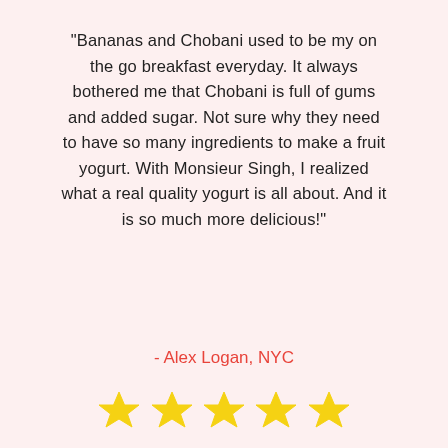"Bananas and Chobani used to be my on the go breakfast everyday. It always bothered me that Chobani is full of gums and added sugar. Not sure why they need to have so many ingredients to make a fruit yogurt. With Monsieur Singh, I realized what a real quality yogurt is all about. And it is so much more delicious!"
- Alex Logan, NYC
[Figure (other): Five yellow star rating icons]